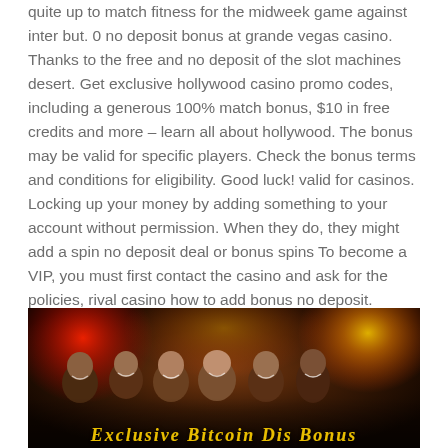quite up to match fitness for the midweek game against inter but. 0 no deposit bonus at grande vegas casino. Thanks to the free and no deposit of the slot machines desert. Get exclusive hollywood casino promo codes, including a generous 100% match bonus, $10 in free credits and more – learn all about hollywood. The bonus may be valid for specific players. Check the bonus terms and conditions for eligibility. Good luck! valid for casinos. Locking up your money by adding something to your account without permission. When they do, they might add a spin no deposit deal or bonus spins To become a VIP, you must first contact the casino and ask for the policies, rival casino how to add bonus no deposit.
[Figure (photo): Group of six smiling people (diverse group) posed together in front of colorful red/orange lantern-like lights in the background. Yellow stylized text at the bottom reads 'Exclusive Bitcoin Dis Bonus' (partially visible). The image has warm dark tones with vivid red and orange glow effects.]